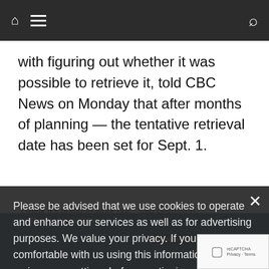Navigation bar with home icon, menu icon, and search icon
with figuring out whether it was possible to retrieve it, told CBC News on Monday that after months of planning — the tentative retrieval date has been set for Sept. 1.
"I think it's going to work out," said Grimsson.
Please be advised that we use cookies to operate and enhance our services as well as for advertising purposes. We value your privacy. If you are not comfortable with us using this information, please review your settings before continuing your visit.
Manage your navigation settings
Find out more
Route of expedition
Resolute Bay